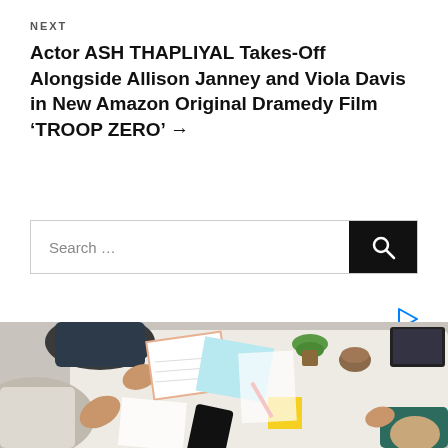NEXT
Actor ASH THAPLIYAL Takes-Off Alongside Allison Janney and Viola Davis in New Amazon Original Dramedy Film ‘TROOP ZERO’ →
[Figure (screenshot): Search bar with text input area labeled 'Search ...' and a dark search button with magnifying glass icon]
[Figure (photo): Overhead photo of people sitting around a white office table with notebooks, phones, coffee cups, a plant, and office supplies. A business meeting scene.]